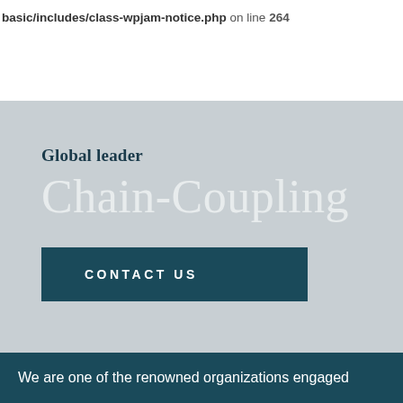basic/includes/class-wpjam-notice.php on line 264
Global leader
Chain-Coupling
CONTACT US
We are one of the renowned organizations engaged